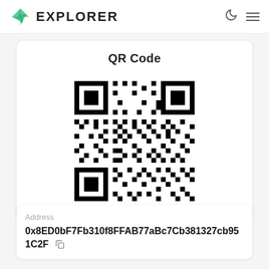EXPLORER
QR Code
[Figure (other): QR code encoding a cryptocurrency wallet address 0x8ED0bF7Fb310f8FFAB77aBc7Cb381327cb951C2F]
Address
0x8ED0bF7Fb310f8FFAB77aBc7Cb381327cb951C2F